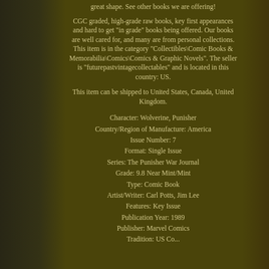great shape. See other books we are offering!

CGC graded, high-grade raw books, key first appearances and hard to get "in grade" books being offered. Our books are well cared for, and many are from personal collections. This item is in the category "Collectibles\Comic Books & Memorabilia\Comics\Comics & Graphic Novels". The seller is "futurepastvintagecollectables" and is located in this country: US.

This item can be shipped to United States, Canada, United Kingdom.
Character: Wolverine, Punisher
Country/Region of Manufacture: America
Issue Number: 7
Format: Single Issue
Series: The Punisher War Journal
Grade: 9.8 Near Mint/Mint
Type: Comic Book
Artist/Writer: Carl Potts, Jim Lee
Features: Key Issue
Publication Year: 1989
Publisher: Marvel Comics
Tradition: US Comics